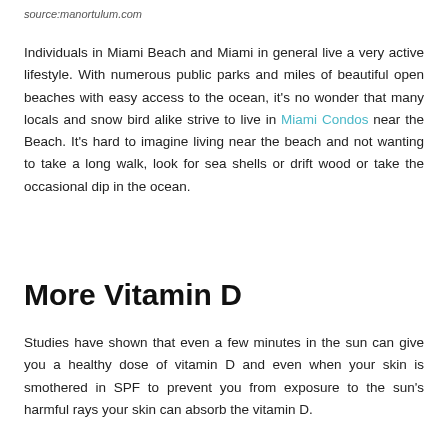source:manortulum.com
Individuals in Miami Beach and Miami in general live a very active lifestyle. With numerous public parks and miles of beautiful open beaches with easy access to the ocean, it's no wonder that many locals and snow bird alike strive to live in Miami Condos near the Beach. It's hard to imagine living near the beach and not wanting to take a long walk, look for sea shells or drift wood or take the occasional dip in the ocean.
More Vitamin D
Studies have shown that even a few minutes in the sun can give you a healthy dose of vitamin D and even when your skin is smothered in SPF to prevent you from exposure to the sun's harmful rays your skin can absorb the vitamin D.